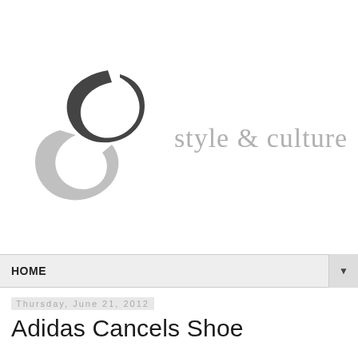[Figure (logo): Style & Culture logo with stylized S mark in dark grey/light grey gradient and text 'style & culture' in light grey serif font]
HOME
Thursday, June 21, 2012
Adidas Cancels Shoe